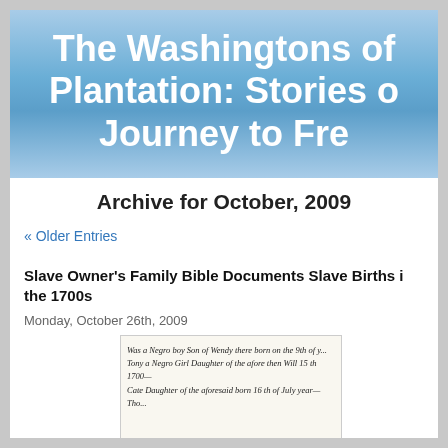The Washingtons of Plantation: Stories o Journey to Fre
Archive for October, 2009
« Older Entries
Slave Owner's Family Bible Documents Slave Births in the 1700s
Monday, October 26th, 2009
[Figure (photo): Handwritten manuscript page showing cursive text about slave births, including references to dates and names.]